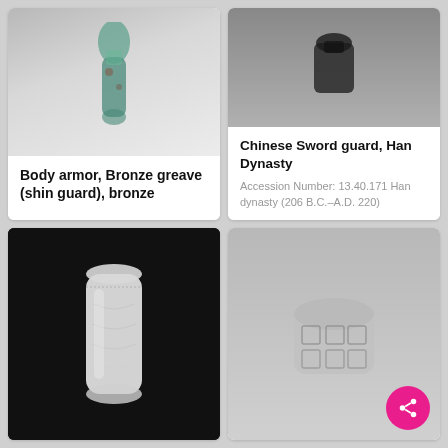[Figure (photo): A bronze greave (shin guard) artifact with green patina against a light gray gradient background]
Body armor, Bronze greave (shin guard), bronze
[Figure (photo): A dark Chinese sword guard artifact against a gray background]
Chinese Sword guard, Han Dynasty
Accession Number: 13.40.171 Han dynasty (206 B.C.–A.D. 220)
[Figure (photo): Black and white photograph of a cylindrical bronze greave with decorative dotted border and relief carvings]
[Figure (photo): Gray-toned photograph of a bronze artifact with geometric patterns, partially visible with a pink share button overlay]